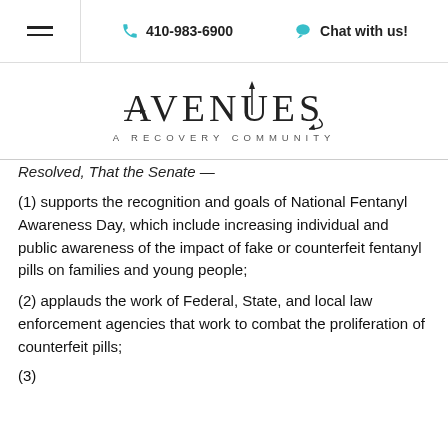410-983-6900   Chat with us!
[Figure (logo): Avenues A Recovery Community logo with stylized text and arrows]
Resolved, That the Senate —
(1) supports the recognition and goals of National Fentanyl Awareness Day, which include increasing individual and public awareness of the impact of fake or counterfeit fentanyl pills on families and young people;
(2) applauds the work of Federal, State, and local law enforcement agencies that work to combat the proliferation of counterfeit pills;
(3)...